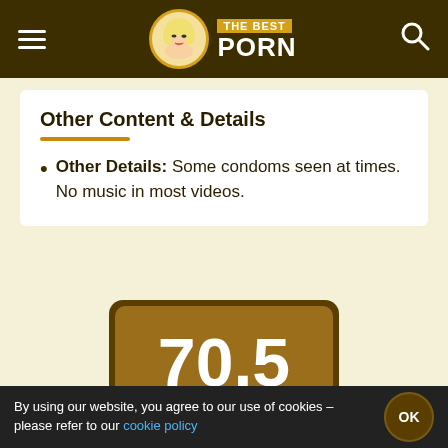THE BEST PORN
Other Content & Details
Other Details: Some condoms seen at times. No music in most videos.
[Figure (infographic): Score card showing 70.5 Average rating on a brown/gold background]
By using our website, you agree to our use of cookies – please refer to our cookie policy  OK